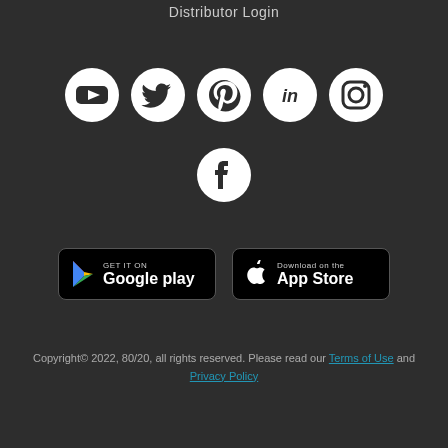Distributor Login
[Figure (illustration): Row of social media icons: YouTube, Twitter, Pinterest, LinkedIn, Instagram (all white on dark circle backgrounds)]
[Figure (illustration): Facebook icon (white on dark circle background)]
[Figure (illustration): Google Play and App Store download buttons]
Copyright© 2022, 80/20, all rights reserved. Please read our Terms of Use and Privacy Policy